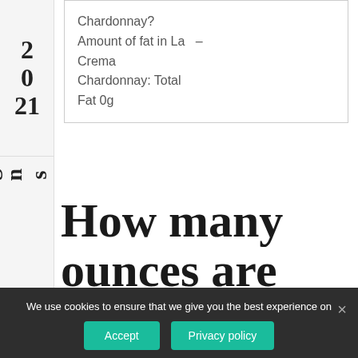2021
10 Signs That
Chardonnay? Amount of fat in La – Crema Chardonnay: Total Fat 0g
How many ounces are in a bottle f
We use cookies to ensure that we give you the best experience on our website. If you continue to use this site we will assume that you are happy with it.